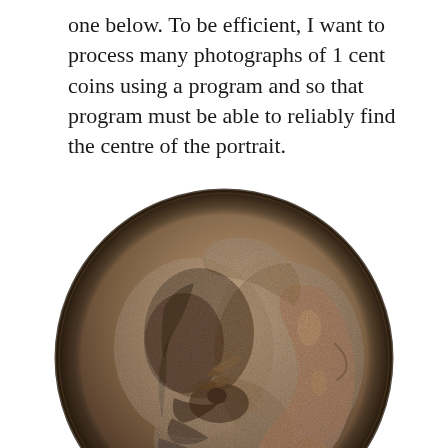one below. To be efficient, I want to process many photographs of 1 cent coins using a program and so that program must be able to reliably find the centre of the portrait.
[Figure (photo): Close-up photograph of a 1 cent coin showing a portrait (Queen Victoria profile) in worn bronze, with detailed hair ornamentation visible on the left side of the portrait.]